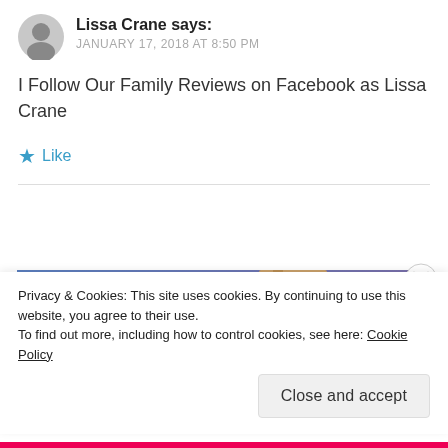Lissa Crane says: JANUARY 17, 2018 AT 8:50 PM
I Follow Our Family Reviews on Facebook as Lissa Crane
★ Like
[Figure (photo): Blue-to-purple gradient background image with a brown/tan box or package visible in the upper center area. A play button circle is partially visible at the bottom left.]
Privacy & Cookies: This site uses cookies. By continuing to use this website, you agree to their use.
To find out more, including how to control cookies, see here: Cookie Policy
Close and accept